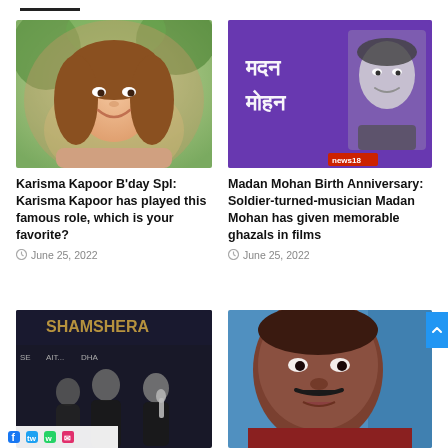[Figure (photo): Karisma Kapoor smiling, outdoor greenery background]
[Figure (photo): Madan Mohan birth anniversary graphic with Hindi text on purple background and black and white photo of Madan Mohan]
Karisma Kapoor B'day Spl: Karisma Kapoor has played this famous role, which is your favorite?
June 25, 2022
Madan Mohan Birth Anniversary: Soldier-turned-musician Madan Mohan has given memorable ghazals in films
June 25, 2022
[Figure (photo): Shamshera movie event with cast members on stage]
[Figure (photo): Ram Gopal Varma close-up portrait with blue background]